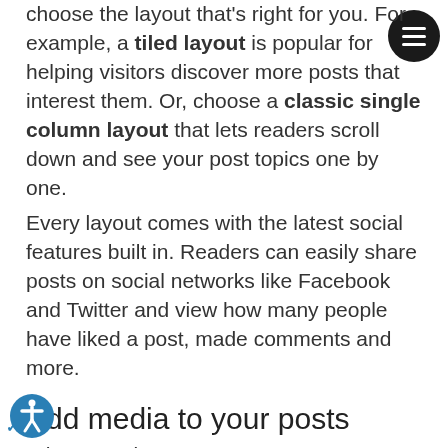choose the layout that's right for you. For example, a tiled layout is popular for helping visitors discover more posts that interest them. Or, choose a classic single column layout that lets readers scroll down and see your post topics one by one.
Every layout comes with the latest social features built in. Readers can easily share posts on social networks like Facebook and Twitter and view how many people have liked a post, made comments and more.
Add media to your posts
When creating your posts you can:
Upload images or GIFs
Embed videos and music